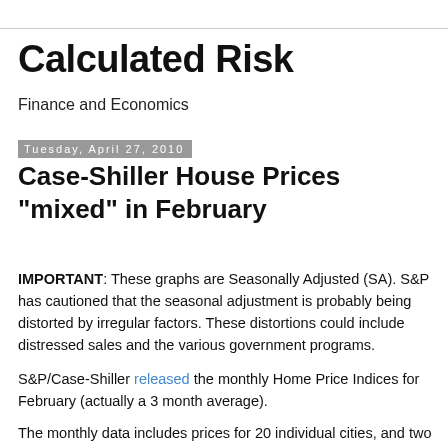Calculated Risk
Finance and Economics
Tuesday, April 27, 2010
Case-Shiller House Prices "mixed" in February
IMPORTANT: These graphs are Seasonally Adjusted (SA). S&P has cautioned that the seasonal adjustment is probably being distorted by irregular factors. These distortions could include distressed sales and the various government programs.
S&P/Case-Shiller released the monthly Home Price Indices for February (actually a 3 month average).
The monthly data includes prices for 20 individual cities, and two composite indices (10 cities and 20 cities).